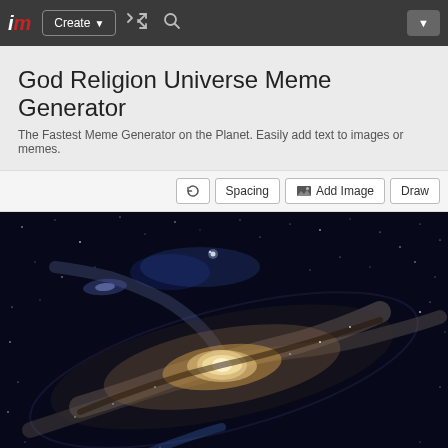im | Create ▼ | [shuffle icon] | [search icon] | [dropdown button]
God Religion Universe Meme Generator
The Fastest Meme Generator on the Planet. Easily add text to images or memes.
[rotate icon] Spacing  [font icon] Add Image  Draw
[Figure (photo): Andromeda galaxy or spiral galaxy photograph against a star-filled dark sky background, showing the bright galactic core and spiral arms with dust lanes and star clusters]